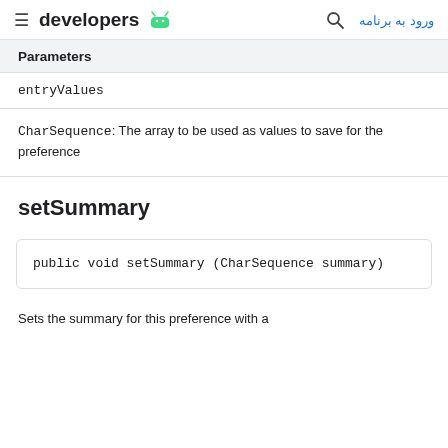developers | ورود به برنامه
| Parameters |
| --- |
| entryValues |
CharSequence: The array to be used as values to save for the preference
setSummary
public void setSummary (CharSequence summary)
Sets the summary for this preference with a